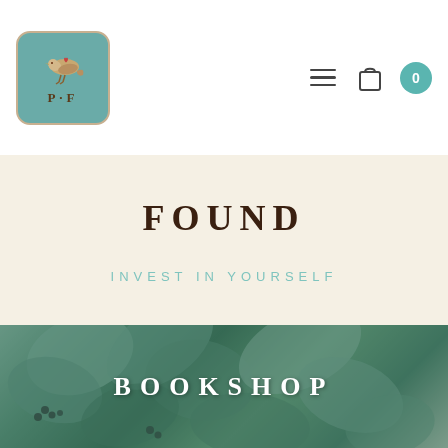PF logo with hamburger menu, bag icon, and cart count 0
FOUND
INVEST IN YOURSELF
[Figure (photo): Close-up photo of eucalyptus leaves with blue-green foliage and small dark berries, overlaid with the text BOOKSHOP in white bold uppercase letters]